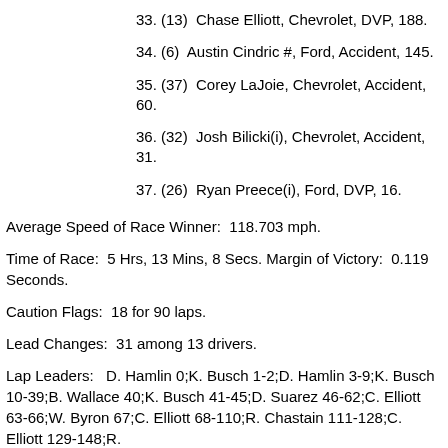33. (13)  Chase Elliott, Chevrolet, DVP, 188.
34. (6)  Austin Cindric #, Ford, Accident, 145.
35. (37)  Corey LaJoie, Chevrolet, Accident, 60.
36. (32)  Josh Bilicki(i), Chevrolet, Accident, 31.
37. (26)  Ryan Preece(i), Ford, DVP, 16.
Average Speed of Race Winner:  118.703 mph.
Time of Race:  5 Hrs, 13 Mins, 8 Secs. Margin of Victory:  0.119 Seconds.
Caution Flags:  18 for 90 laps.
Lead Changes:  31 among 13 drivers.
Lap Leaders:   D. Hamlin 0;K. Busch 1-2;D. Hamlin 3-9;K. Busch 10-39;B. Wallace 40;K. Busch 41-45;D. Suarez 46-62;C. Elliott 63-66;W. Byron 67;C. Elliott 68-110;R. Chastain 111-128;C. Elliott 129-148;R.